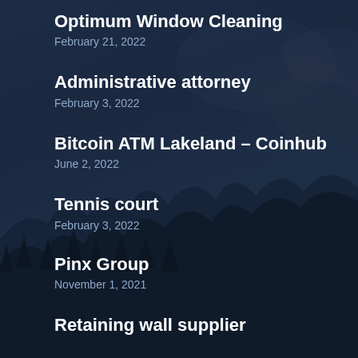Optimum Window Cleaning
February 21, 2022
Administrative attorney
February 3, 2022
Bitcoin ATM Lakeland – Coinhub
June 2, 2022
Tennis court
February 3, 2022
Pinx Group
November 1, 2021
Retaining wall supplier